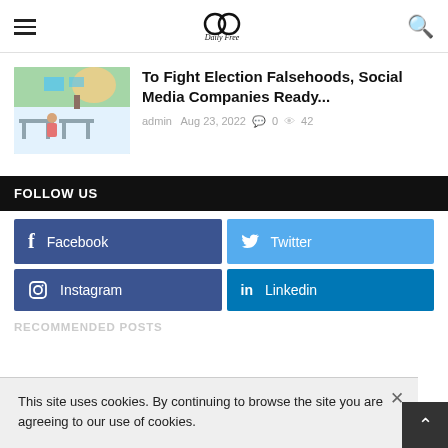Daily Free — navigation header with hamburger menu, logo, and search icon
[Figure (photo): Thumbnail photo of a person sitting at a table with election-related signage and a tropical mural in the background]
To Fight Election Falsehoods, Social Media Companies Ready...
admin  Aug 23, 2022  0  42
FOLLOW US
Facebook
Twitter
Instagram
Linkedin
RECOMMENDED POSTS
This site uses cookies. By continuing to browse the site you are agreeing to our use of cookies.